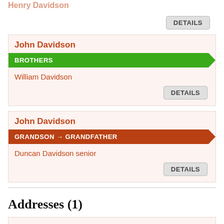Henry Davidson
DETAILS
John Davidson
BROTHERS
William Davidson
DETAILS
John Davidson
GRANDSON → GRANDFATHER
Duncan Davidson senior
DETAILS
Addresses (1)
11 Cornfield Terrace, Eastbourne, Sussex, South-east England, England
DETAILS